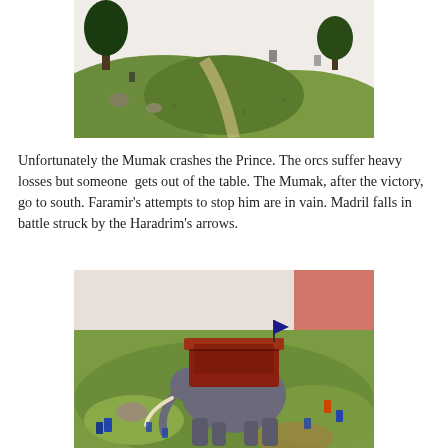[Figure (photo): Wargaming miniatures scene on a green terrain board with trees, hills, and small figurines including what appears to be orc/fantasy miniatures on a battlefield.]
Unfortunately the Mumak crashes the Prince. The orcs suffer heavy losses but someone gets out of the table. The Mumak, after the victory, go to south. Faramir's attempts to stop him are in vain. Madril falls in battle struck by the Haradrim's arrows.
[Figure (photo): Wargaming miniature of a large Mumak (elephant-like creature) with a howdah on its back, surrounded by small blue/grey miniature warriors on a green terrain board.]